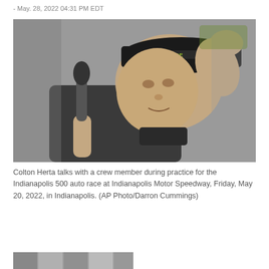- May. 28, 2022 04:31 PM EDT
[Figure (photo): Colton Herta wearing a black cap with 'BRIDGE' logo, talking with a crew member, holding a microphone, dressed in black racing gear]
Colton Herta talks with a crew member during practice for the Indianapolis 500 auto race at Indianapolis Motor Speedway, Friday, May 20, 2022, in Indianapolis. (AP Photo/Darron Cummings)
[Figure (photo): Partial view of another photo at the bottom of the page]